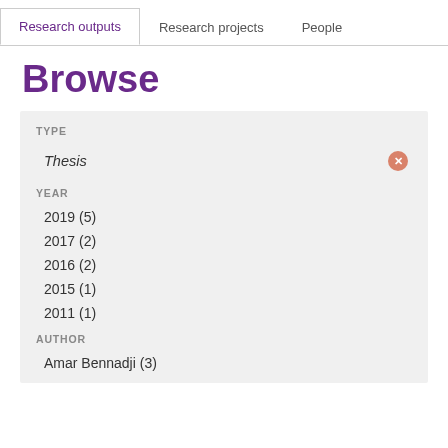Research outputs | Research projects | People
Browse
TYPE
Thesis
YEAR
2019 (5)
2017 (2)
2016 (2)
2015 (1)
2011 (1)
AUTHOR
Amar Bennadji (3)